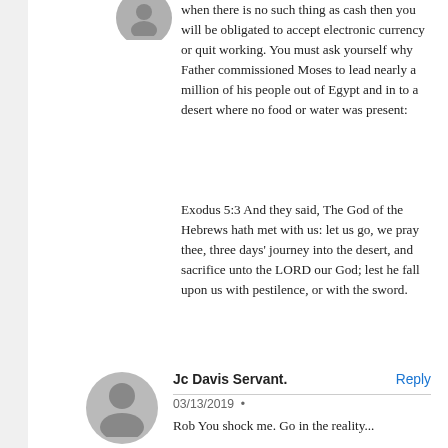when there is no such thing as cash then you will be obligated to accept electronic currency or quit working. You must ask yourself why Father commissioned Moses to lead nearly a million of his people out of Egypt and in to a desert where no food or water was present:
Exodus 5:3 And they said, The God of the Hebrews hath met with us: let us go, we pray thee, three days' journey into the desert, and sacrifice unto the LORD our God; lest he fall upon us with pestilence, or with the sword.
[Figure (illustration): Gray circular avatar/profile picture placeholder with person silhouette]
Jc Davis Servant.
03/13/2019 •
Rob You shock me. Go in the reality...